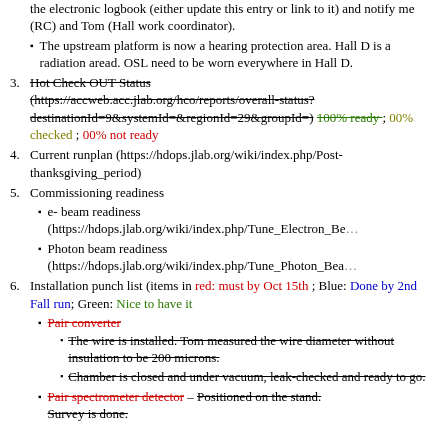the electronic logbook (either update this entry or link to it) and notify me (RC) and Tom (Hall work coordinator).
The upstream platform is now a hearing protection area. Hall D is a radiation aread. OSL need to be worn everywhere in Hall D.
3. Hot Check OUT Status (https://accweb.acc.jlab.org/hco/reports/overall_status?destinationId=9&systemId=&regionId=29&groupId=) 100% ready ; 00% checked ; 00% not ready
4. Current runplan (https://hdops.jlab.org/wiki/index.php/Post-thanksgiving_period)
5. Commissioning readiness
e- beam readiness (https://hdops.jlab.org/wiki/index.php/Tune_Electron_Be...
Photon beam readiness (https://hdops.jlab.org/wiki/index.php/Tune_Photon_Bea...
6. Installation punch list (items in red: must by Oct 15th ; Blue: Done by 2nd Fall run; Green: Nice to have it
Pair converter
The wire is installed. Tom measured the wire diameter without insulation to be 200 microns.
Chamber is closed and under vacuum, leak-checked and ready to go.
Pair spectrometer detector – Positioned on the stand. Survey is done.